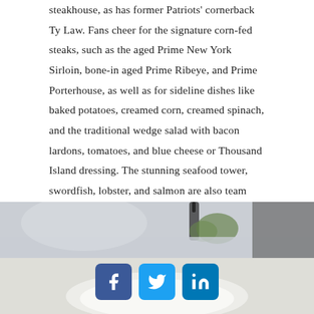steakhouse, as has former Patriots' cornerback Ty Law. Fans cheer for the signature corn-fed steaks, such as the aged Prime New York Sirloin, bone-in aged Prime Ribeye, and Prime Porterhouse, as well as for sideline dishes like baked potatoes, creamed corn, creamed spinach, and the traditional wedge salad with bacon lardons, tomatoes, and blue cheese or Thousand Island dressing. The stunning seafood tower, swordfish, lobster, and salmon are also team players as is the New England clam chowder, of course – home field advantage. Make a reservation at Abe & Louie's.
[Figure (photo): Restaurant table setting photo, partially visible with social media sharing icons (Facebook, Twitter, LinkedIn) overlaid in the lower portion]